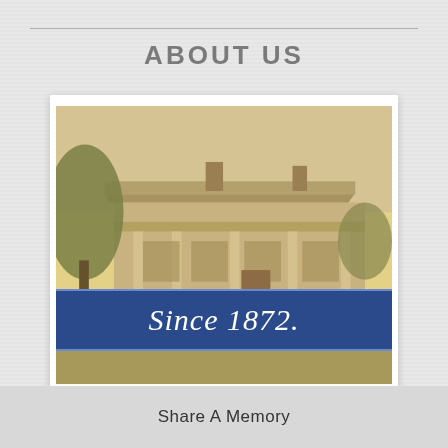ABOUT US
[Figure (photo): Sepia-toned historical photograph of a Victorian-era house with a covered porch supported by columns, trees in the foreground, with a blue banner overlay reading 'Since 1872.']
Share A Memory